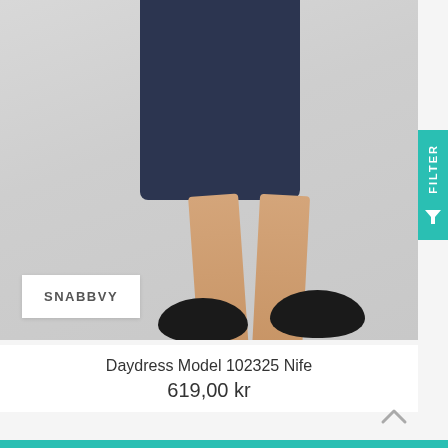[Figure (photo): Fashion product photo showing lower body of female model wearing a navy blue pencil dress/skirt and black flat shoes with floral detail, walking pose, light grey background.]
SNABBVY
FILTER
Daydress Model 102325 Nife
619,00 kr